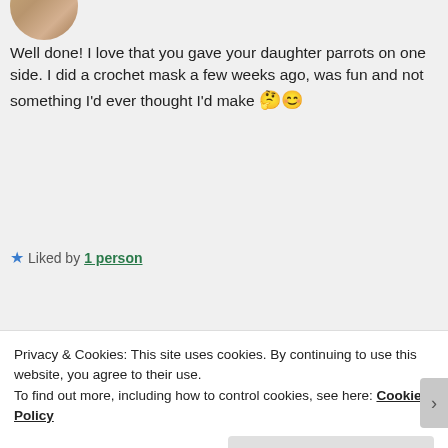[Figure (photo): Partial circular avatar photo showing brown/tan tones at top of page]
Well done! I love that you gave your daughter parrots on one side. I did a crochet mask a few weeks ago, was fun and not something I'd ever thought I'd make 🤔😊
Liked by 1 person
[Figure (illustration): Rainbow-colored circular avatar with concentric rings (purple, blue, green, yellow, red) and a small eye-like symbol in center]
Rainbow Junkie
Privacy & Cookies: This site uses cookies. By continuing to use this website, you agree to their use.
To find out more, including how to control cookies, see here: Cookie Policy
Close and accept